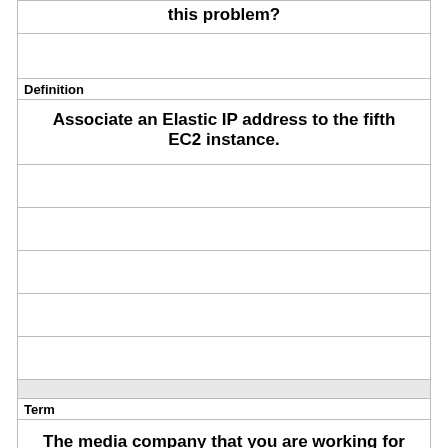this problem?
Definition
Associate an Elastic IP address to the fifth EC2 instance.
Term
The media company that you are working for has a video transcoding application running on Amazon EC2. Each EC2 instance polls a queue to find out which video should be transcoded, and then runs a transcoding process. If this process is interrupted, the video will be transcoded by another instance based on the queuing system. This application has a large backlog of videos which need to be